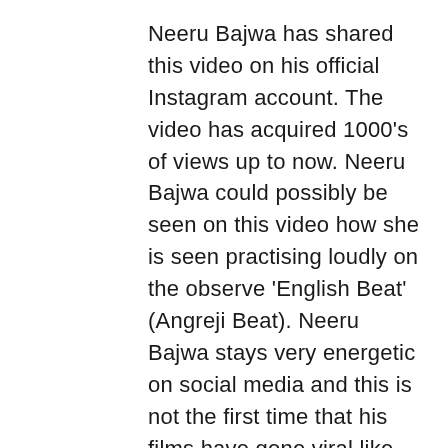Neeru Bajwa has shared this video on his official Instagram account. The video has acquired 1000's of views up to now. Neeru Bajwa could possibly be seen on this video how she is seen practising loudly on the observe 'English Beat' (Angreji Beat). Neeru Bajwa stays very energetic on social media and this is not the first time that his films have gone viral like this. Even sooner than this, the dance films of the actress have rocked.
Inform us that actress Neeru Bajwa (Punjab) 'Mel Kara De Rabba' and 'Jinne Mera Dil Lootaya' have